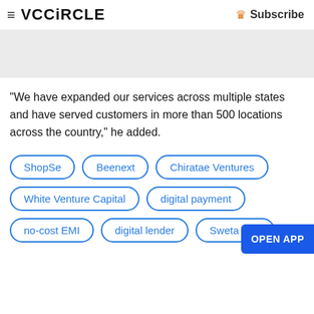VCCiRCLE  Subscribe
[Figure (other): Gray banner/advertisement placeholder]
"We have expanded our services across multiple states and have served customers in more than 500 locations across the country," he added.
ShopSe
Beenext
Chiratae Ventures
White Venture Capital
digital payment
no-cost EMI
digital lender
Sweta Rau